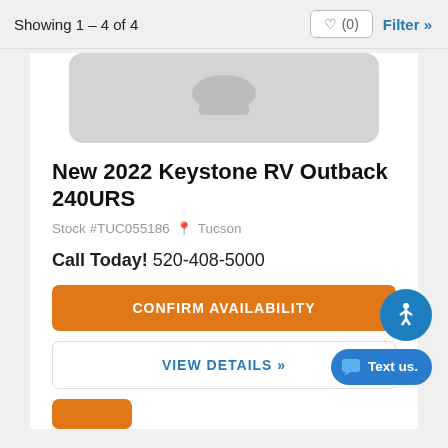Showing 1 - 4 of 4
[Figure (photo): Placeholder image of an RV, shown as a gray rounded rectangle]
New 2022 Keystone RV Outback 240URS
Stock #TUC055186  Tucson
Call Today! 520-408-5000
CONFIRM AVAILABILITY
VIEW DETAILS »